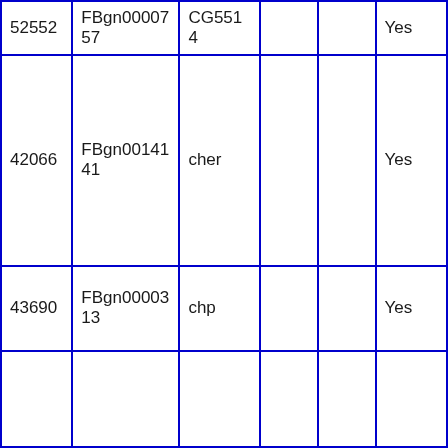| 52552 | FBgn0000757 | CG5514 |  |  | Yes |
| 42066 | FBgn0014141 | cher |  |  | Yes |
| 43690 | FBgn0000313 | chp |  |  | Yes |
|  |  |  |  |  |  |